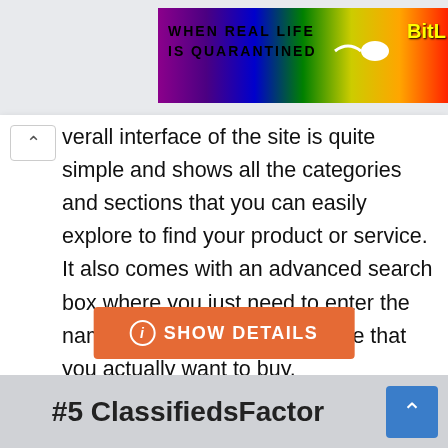[Figure (screenshot): Colorful rainbow banner advertisement with text 'WHEN REAL LIFE IS QUARANTINED' and 'BitL' logo on right]
verall interface of the site is quite simple and shows all the categories and sections that you can easily explore to find your product or service. It also comes with an advanced search box where you just need to enter the name of your product or service that you actually want to buy.
SHOW DETAILS
#5 ClassifiedsFactor